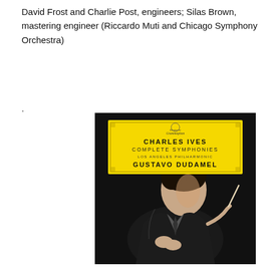David Frost and Charlie Post, engineers; Silas Brown, mastering engineer (Riccardo Muti and Chicago Symphony Orchestra)
.
[Figure (illustration): Album cover for 'Charles Ives Complete Symphonies' on Deutsche Grammophon label, featuring Gustavo Dudamel and the Los Angeles Philharmonic. Yellow label banner at top with text 'CHARLES IVES / COMPLETE SYMPHONIES / LOS ANGELES PHILHARMONIC / GUSTAVO DUDAMEL'. Below is a dark background photo of a man in a black suit holding a conductor's baton.]